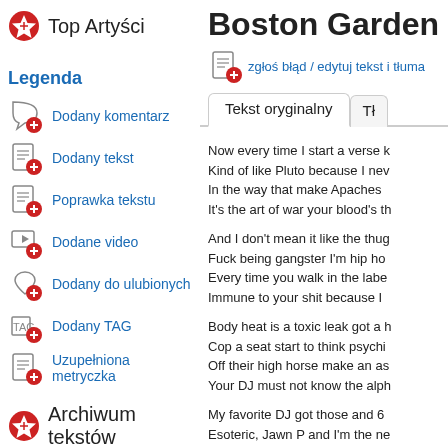Top Artyści
Legenda
Dodany komentarz
Dodany tekst
Poprawka tekstu
Dodane video
Dodany do ulubionych
Dodany TAG
Uzupełniona metryczka
Archiwum tekstów
Boston Garden Ra
zgłoś błąd / edytuj tekst i tłuma
Tekst oryginalny
Now every time I start a verse k
Kind of like Pluto because I nev
In the way that make Apaches 
It's the art of war your blood's th
And I don't mean it like the thug
Fuck being gangster I'm hip ho
Every time you walk in the labe
Immune to your shit because I
Body heat is a toxic leak got a h
Cop a seat start to think psychi
Off their high horse make an as
Your DJ must not know the alph
My favorite DJ got those and 6
Esoteric, Jawn P and I'm the ne
I'm Raydar Ellis nice to meet y